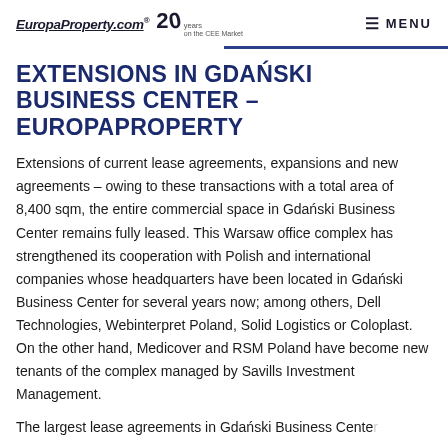EuropaProperty.com® 20 years on the CEE Market  MENU
EXTENSIONS IN GDAŃSKI BUSINESS CENTER – EUROPAPROPERTY
Extensions of current lease agreements, expansions and new agreements – owing to these transactions with a total area of 8,400 sqm, the entire commercial space in Gdański Business Center remains fully leased. This Warsaw office complex has strengthened its cooperation with Polish and international companies whose headquarters have been located in Gdański Business Center for several years now; among others, Dell Technologies, Webinterpret Poland, Solid Logistics or Coloplast. On the other hand, Medicover and RSM Poland have become new tenants of the complex managed by Savills Investment Management.
The largest lease agreements in Gdański Business Center...